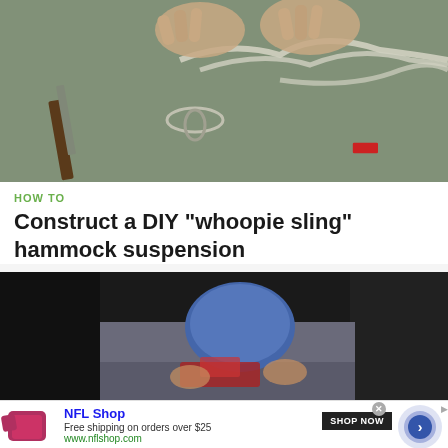[Figure (photo): Video thumbnail showing hands working with paracord/rope to construct a whoopie sling hammock suspension, with a knife and red tool visible on a table surface]
HOW TO
Construct a DIY "whoopie sling" hammock suspension
[Figure (screenshot): Second video thumbnail showing a dark scene with hands working near rocks or ground]
[Figure (infographic): NFL Shop advertisement with logo, text 'Free shipping on orders over $25', 'www.nflshop.com', 'SHOP NOW' button, and circular navigation element]